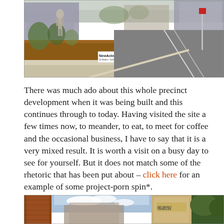[Figure (photo): Outdoor photograph of NewActon South precinct showing a sculpture, landscaped planter with rust-colored corten steel, a concrete wall with 'NewActon South' sign, and a street with road markings. Urban buildings visible in background.]
There was much ado about this whole precinct development when it was being built and this continues through to today. Having visited the site a few times now, to meander, to eat, to meet for coffee and the occasional business, I have to say that it is a very mixed result. It is worth a visit on a busy day to see for yourself. But it does not match some of the rhetoric that has been put about – click here for an example of some project-porn spin*.
[Figure (photo): Partial photograph at bottom of page showing urban streetscape with brick buildings, cloudy sky, and a sign reading 'NO HEAVY VEHICLES'.]